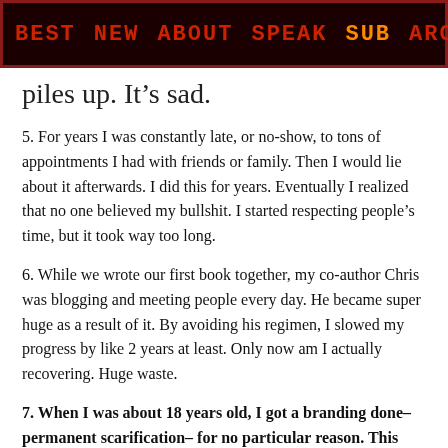BEST  NEW  ABOUT  SPEAK  SUB  ARCH
piles up. It's sad.
5. For years I was constantly late, or no-show, to tons of appointments I had with friends or family. Then I would lie about it afterwards. I did this for years. Eventually I realized that no one believed my bullshit. I started respecting people's time, but it took way too long.
6. While we wrote our first book together, my co-author Chris was blogging and meeting people every day. He became super huge as a result of it. By avoiding his regimen, I slowed my progress by like 2 years at least. Only now am I actually recovering. Huge waste.
7. When I was about 18 years old, I got a branding done– permanent scarification– for no particular reason. This isn't a big deal but I can't think of why I did it now, 14 years later. I'm going to get it covered with more tattoos eventually.
8. I quit art school at around age 19 to pursue a dot-com job. My d